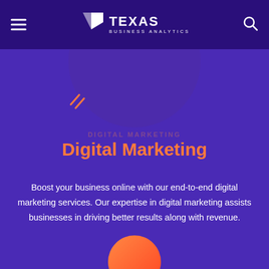Texas Business Analytics
[Figure (illustration): Decorative purple circle with diagonal accent lines, partially visible at top of content area]
Digital Marketing
Boost your business online with our end-to-end digital marketing services. Our expertise in digital marketing assists businesses in driving better results along with revenue.
[Figure (illustration): Orange/coral circle partially visible at bottom of page]